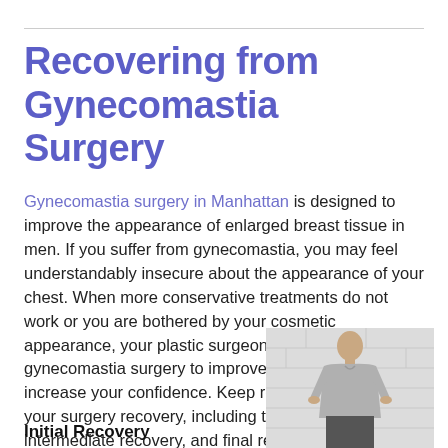Recovering from Gynecomastia Surgery
Gynecomastia surgery in Manhattan is designed to improve the appearance of enlarged breast tissue in men. If you suffer from gynecomastia, you may feel understandably insecure about the appearance of your chest. When more conservative treatments do not work or you are bothered by your cosmetic appearance, your plastic surgeon may recommend gynecomastia surgery to improve your health and increase your confidence. Keep reading to learn about your surgery recovery, including the initial recovery, intermediate recovery, and final recovery.
[Figure (photo): A man in a gray t-shirt standing against a white brick wall]
Initial Recovery